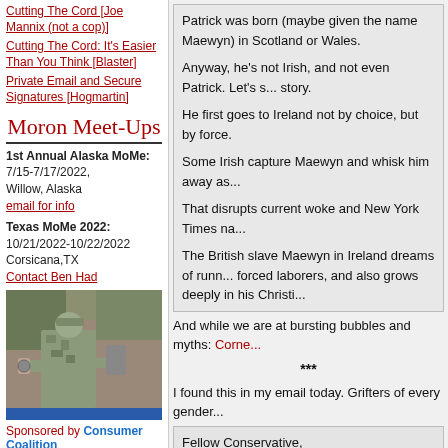Cutting The Cord [Joe Mannix (not a cop)]
Cutting The Cord: It's Easier Than You Think [Blaster]
Private Email and Secure Signatures [Hogmartin]
Moron Meet-Ups
1st Annual Alaska MoMe: 7/15-7/17/2022, Willow, Alaska email for info
Texas MoMe 2022: 10/21/2022-10/22/2022 Corsicana,TX Contact Ben Had
[Figure (photo): Soldier in military uniform working on equipment outdoors]
Sponsored by Consumer Coalition
Camp Lejeune
Patrick was born (maybe given the name Maewyn) in Scotland or Wales.

Anyway, he's not Irish, and not even Patrick. Let's s... story.

He first goes to Ireland not by choice, but by force.

Some Irish capture Maewyn and whisk him away as...

That disrupts current woke and New York Times na...

The British slave Maewyn in Ireland dreams of runn... forced laborers, and also grows deeply in his Christi...
And while we are at bursting bubbles and myths: Corne...
***
I found this in my email today. Grifters of every gender...
Fellow Conservative,

This is an all-hands-on-deck moment for conservati...

That is exactly why I launched Stand For America P... you will become a part of the incredible momentum... Senate in 2022.